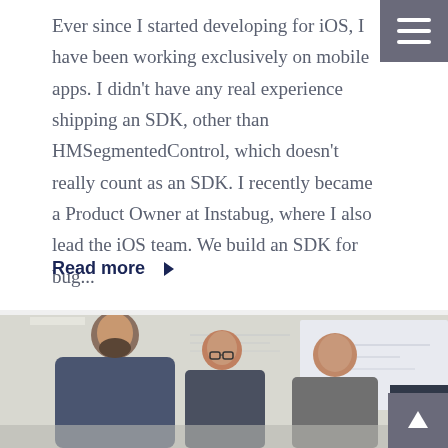Ever since I started developing for iOS, I have been working exclusively on mobile apps. I didn't have any real experience shipping an SDK, other than HMSegmentedControl, which doesn't really count as an SDK. I recently became a Product Owner at Instabug, where I also lead the iOS team. We build an SDK for bug...
Read more ▶
[Figure (photo): Photo of three men in an office environment, standing near a whiteboard/screen]